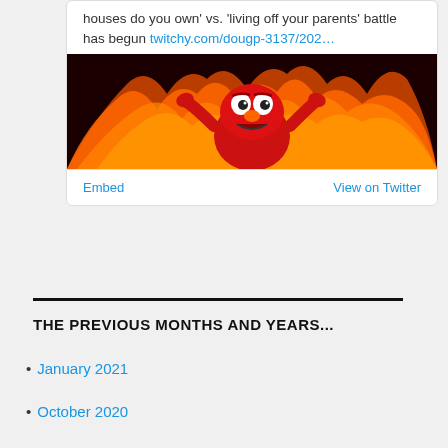houses do you own' vs. 'living off your parents' battle has begun twitchy.com/dougp-3137/202…
[Figure (photo): Elmo muppet character surrounded by flames, appearing distressed, on a dark background]
Embed   View on Twitter
THE PREVIOUS MONTHS AND YEARS...
January 2021
October 2020